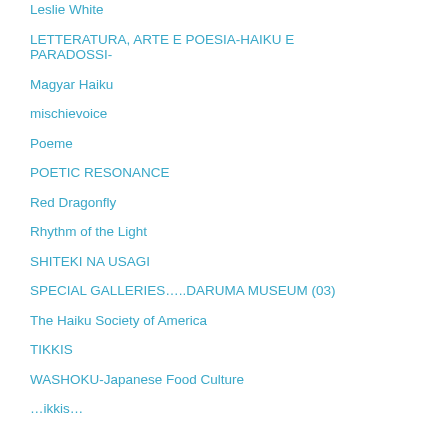Leslie White
LETTERATURA, ARTE E POESIA-HAIKU E PARADOSSI-
Magyar Haiku
mischievoice
Poeme
POETIC RESONANCE
Red Dragonfly
Rhythm of the Light
SHITEKI NA USAGI
SPECIAL GALLERIES…..DARUMA MUSEUM (03)
The Haiku Society of America
TIKKIS
WASHOKU-Japanese Food Culture
…ikkis…